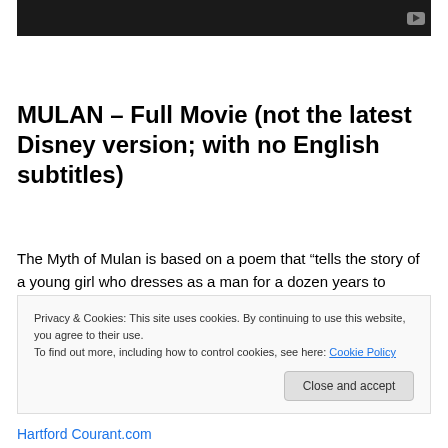[Figure (screenshot): Dark video thumbnail with YouTube play button icon in top right corner]
MULAN – Full Movie (not the latest Disney version; with no English subtitles)
The Myth of Mulan is based on a poem that “tells the story of a young girl who dresses as a man for a dozen years to
Privacy & Cookies: This site uses cookies. By continuing to use this website, you agree to their use.
To find out more, including how to control cookies, see here: Cookie Policy

Close and accept
Hartford Courant.com